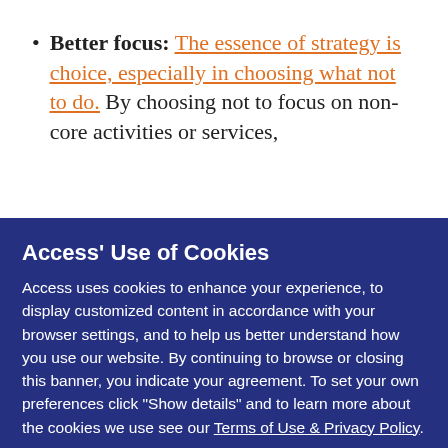Better focus: The essence of strategy is choice, especially in choosing what not to do. By choosing not to focus on non-core activities or services,
leadership mindshare is redeployed from solving administrative tasks to solving client problems.
Reason 4: more profit for your shareholders
Right relationship. When you outsource a non-core competency to a leading provider, that provider is sending their best people to you. They're curious about competitors and players in the client say they understand what they are doing, how they're doing it, what works and what doesn't. Who has that knowledge? You...
Access' Use of Cookies

Access uses cookies to enhance your experience, to display customized content in accordance with your browser settings, and to help us better understand how you use our website. By continuing to browse or closing this banner, you indicate your agreement. To set your own preferences click "Show details" and to learn more about the cookies we use see our Terms of Use & Privacy Policy.